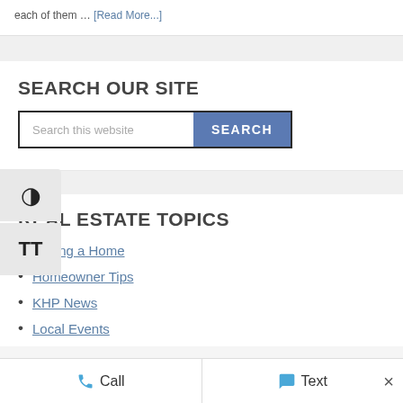each of them … [Read More...]
SEARCH OUR SITE
[Figure (screenshot): Search bar with text input 'Search this website' and a blue SEARCH button]
REAL ESTATE TOPICS
Buying a Home
Homeowner Tips
KHP News
Local Events
Call   Text